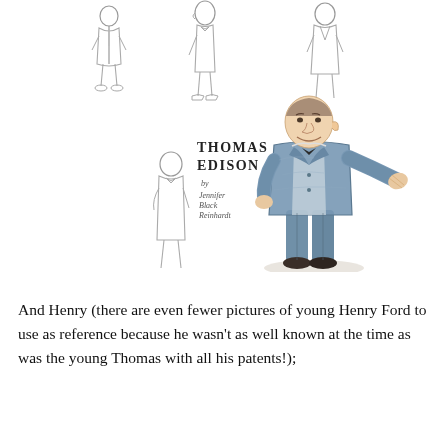[Figure (illustration): Watercolor and pencil sketch illustration showing multiple views/poses of Thomas Edison as a character. Includes several pencil sketches of a man in a suit from different angles (front, side, three-quarter), and one fully colored watercolor figure of Edison in a blue suit with arms outstretched. A book title label reads 'Thomas Edison by Jennifer Black Reinhardt'.]
And Henry (there are even fewer pictures of young Henry Ford to use as reference because he wasn't as well known at the time as was the young Thomas with all his patents!);